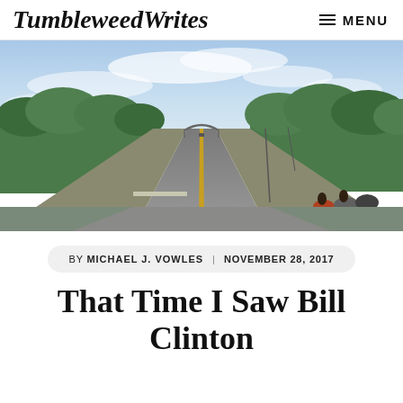TumbleweedWrites — MENU
[Figure (photo): A road stretching into the distance with green trees on both sides, a bridge arch visible ahead, motorcycles parked on the right shoulder, overcast sky.]
BY MICHAEL J. VOWLES   NOVEMBER 28, 2017
That Time I Saw Bill Clinton